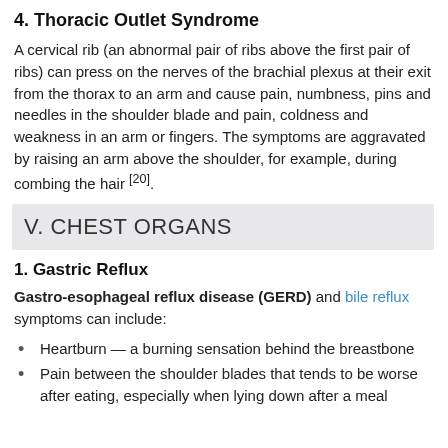4. Thoracic Outlet Syndrome
A cervical rib (an abnormal pair of ribs above the first pair of ribs) can press on the nerves of the brachial plexus at their exit from the thorax to an arm and cause pain, numbness, pins and needles in the shoulder blade and pain, coldness and weakness in an arm or fingers. The symptoms are aggravated by raising an arm above the shoulder, for example, during combing the hair [20].
V. CHEST ORGANS
1. Gastric Reflux
Gastro-esophageal reflux disease (GERD) and bile reflux symptoms can include:
Heartburn — a burning sensation behind the breastbone
Pain between the shoulder blades that tends to be worse after eating, especially when lying down after a meal